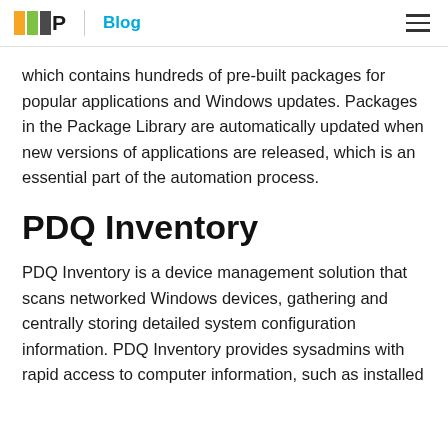PDQ Blog
which contains hundreds of pre-built packages for popular applications and Windows updates. Packages in the Package Library are automatically updated when new versions of applications are released, which is an essential part of the automation process.
PDQ Inventory
PDQ Inventory is a device management solution that scans networked Windows devices, gathering and centrally storing detailed system configuration information. PDQ Inventory provides sysadmins with rapid access to computer information, such as installed